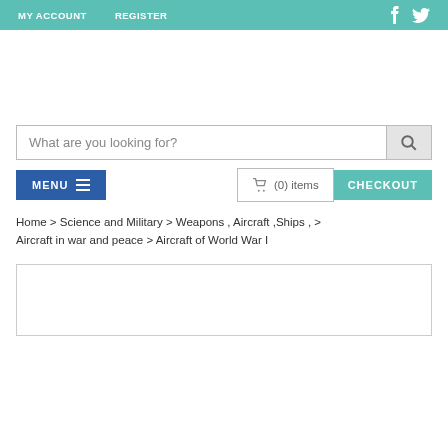MY ACCOUNT   REGISTER
[Figure (screenshot): Search input box with placeholder text 'What are you looking for?' and a search icon button on the right]
MENU  (0) items  CHECKOUT
Home > Science and Military > Weapons , Aircraft ,Ships , > Aircraft in war and peace > Aircraft of World War I